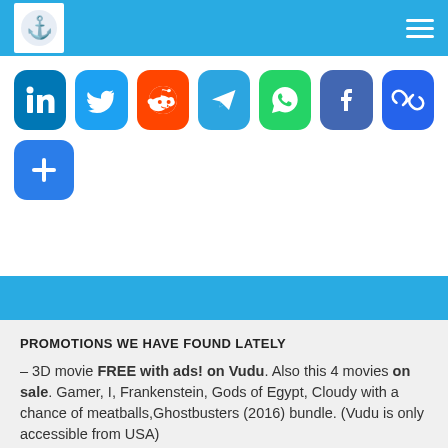Navigation bar with logo and hamburger menu
[Figure (infographic): Social sharing icons row: LinkedIn, Twitter, Reddit, Telegram, WhatsApp, Facebook, Link, and a plus button]
PROMOTIONS WE HAVE FOUND LATELY
– 3D movie FREE with ads! on Vudu. Also this 4 movies on sale. Gamer, I, Frankenstein, Gods of Egypt, Cloudy with a chance of meatballs,Ghostbusters (2016) bundle. (Vudu is only accessible from USA)
– Wonder Woman 1984 is merely available on Amazon